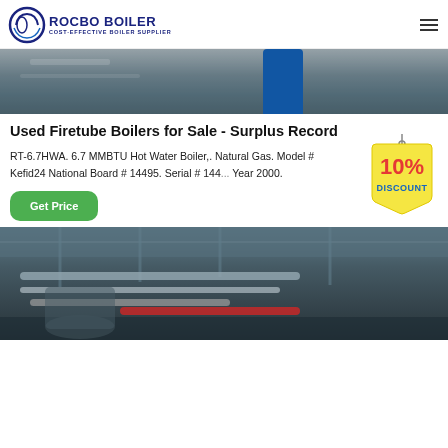ROCBO BOILER - COST-EFFECTIVE BOILER SUPPLIER
[Figure (photo): Top portion of industrial boiler facility photo, showing metal structures and a blue cylindrical tank]
Used Firetube Boilers for Sale - Surplus Record
RT-6.7HWA. 6.7 MMBTU Hot Water Boiler,. Natural Gas. Model # Kefid24 National Board # 14495. Serial # 144... Year 2000.
[Figure (infographic): 10% DISCOUNT badge hanging sign in red and yellow]
[Figure (photo): Button labeled Get Price with green rounded rectangle background]
[Figure (photo): Bottom industrial boiler facility photo showing pipes and equipment in a large warehouse]